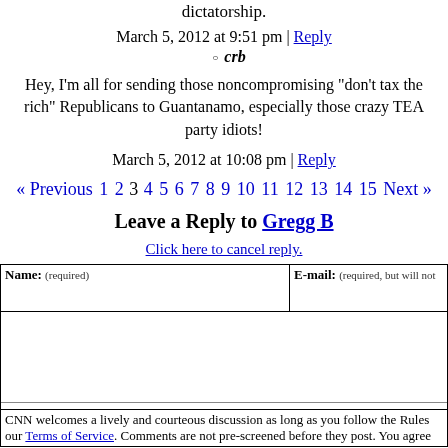dictatorship.
March 5, 2012 at 9:51 pm | Reply
crb
Hey, I'm all for sending those noncompromising "don't tax the rich" Republicans to Guantanamo, especially those crazy TEA party idiots!
March 5, 2012 at 10:08 pm | Reply
« Previous 1 2 3 4 5 6 7 8 9 10 11 12 13 14 15 Next »
Leave a Reply to Gregg B
Click here to cancel reply.
| Name: (required) | E-mail: (required, but will not be published) |
| --- | --- |
|  |
CNN welcomes a lively and courteous discussion as long as you follow the Rules of our Terms of Service. Comments are not pre-screened before they post. You agree